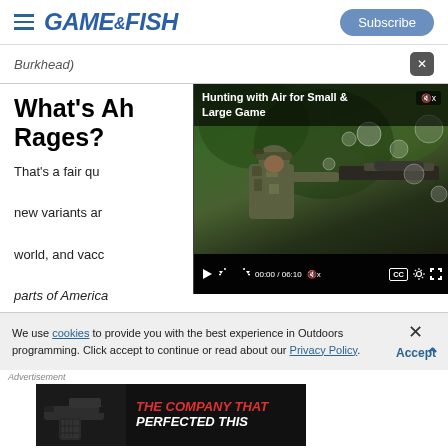GAME&FISH — Subscribe
Burkhead)
What's Ahead as COVID Rages?
[Figure (screenshot): Embedded video player showing a hunter with a scoped rifle. Title bar reads: Hunting with Air for Small & Large Game. Video controls show 00:00 / 06:10.]
That's a fair qu… new variants ar… world, and vac… parts of America
We use cookies to provide you with the best experience in Outdoors programming. Click accept to continue or read about our Privacy Policy.
[Figure (screenshot): Advertisement banner showing a handgun on black background with red and white text: THE COMPANY THAT PERFECTED THIS]